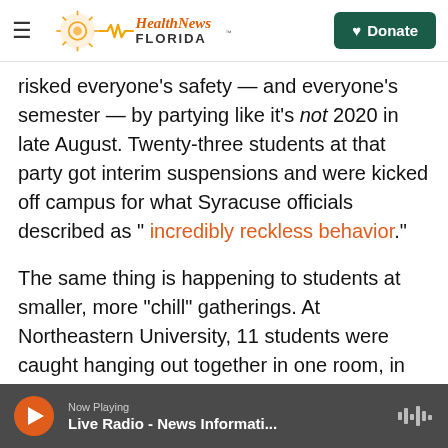Health News Florida — Donate
risked everyone's safety — and everyone's semester — by partying like it's not 2020 in late August. Twenty-three students at that party got interim suspensions and were kicked off campus for what Syracuse officials described as " incredibly reckless behavior."
The same thing is happening to students at smaller, more "chill" gatherings. At Northeastern University, 11 students were caught hanging out together in one room, in violation of bans on having guests in campus housing and on participating in crowded gatherings.
Now Playing — Live Radio - News Informati...